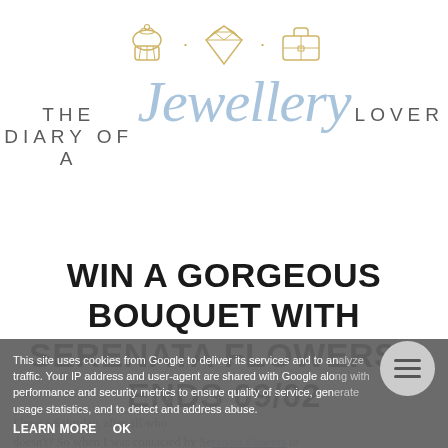[Figure (logo): The Diary of a Jewellery Lover blog logo with cupcake, diamond, and suitcase icons above stylized text]
WIN A GORGEOUS BOUQUET WITH SERENATA FLOWERS - ENDS 09/02
FRIDAY, 17 JANUARY 2014
This site uses cookies from Google to deliver its services and to analyze traffic. Your IP address and user-agent are shared with Google along with performance and security metrics to ensure quality of service, generate usage statistics, and to detect and address abuse.
LEARN MORE   OK